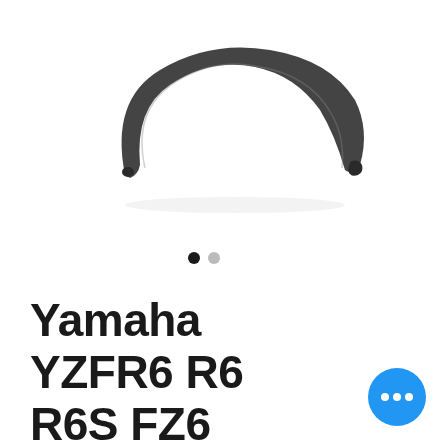[Figure (photo): A black curved motorcycle fender/mudguard part shown on a white background, arched shape viewed from the side.]
[Figure (other): Carousel indicator dots: one solid black dot and one gray dot, indicating two images in a slideshow.]
Yamaha YZFR6 R6 R6S FZ6 OEM Cam
[Figure (other): A blue circular button with three white dots (ellipsis/more options button) in the bottom-right area.]